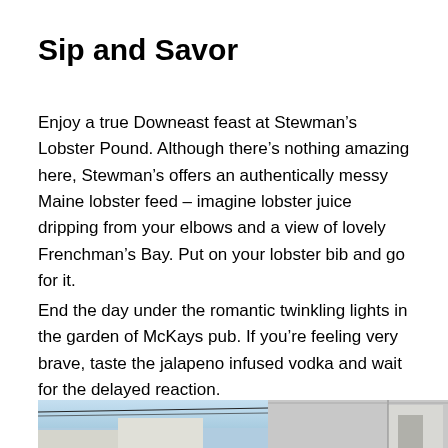Sip and Savor
Enjoy a true Downeast feast at Stewman’s Lobster Pound. Although there’s nothing amazing here, Stewman’s offers an authentically messy Maine lobster feed – imagine lobster juice dripping from your elbows and a view of lovely Frenchman’s Bay. Put on your lobster bib and go for it.
End the day under the romantic twinkling lights in the garden of McKays pub. If you’re feeling very brave, taste the jalapeno infused vodka and wait for the delayed reaction.
[Figure (photo): Two outdoor photos side by side showing a building exterior with power lines against a blue sky on the left, and a close-up of a building wall/door on the right.]